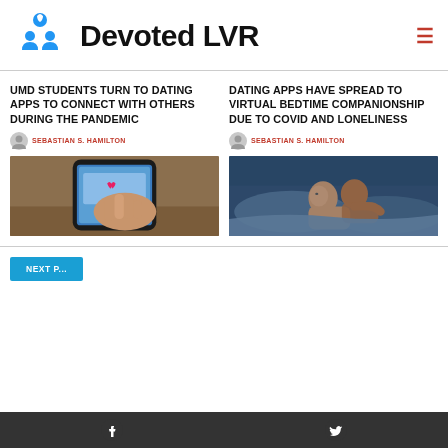Devoted LVR
UMD STUDENTS TURN TO DATING APPS TO CONNECT WITH OTHERS DURING THE PANDEMIC
SEBASTIAN S. HAMILTON
[Figure (photo): Hand holding smartphone with dating app on screen, wooden table background]
DATING APPS HAVE SPREAD TO VIRTUAL BEDTIME COMPANIONSHIP DUE TO COVID AND LONELINESS
SEBASTIAN S. HAMILTON
[Figure (photo): Couple sleeping together in bed with blue/grey lighting]
Facebook  Twitter social icons